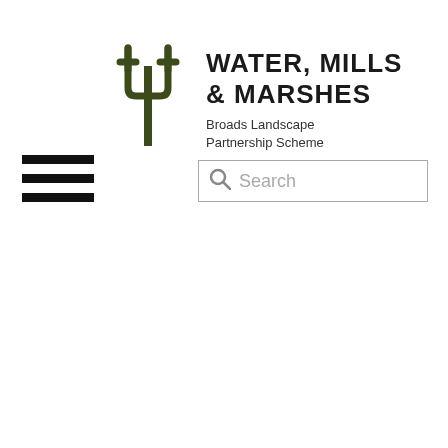[Figure (logo): Water, Mills & Marshes logo: a stylized dark olive green trident/pitchfork symbol]
WATER, MILLS & MARSHES
Broads Landscape Partnership Scheme
[Figure (other): Hamburger menu icon: three horizontal black bars]
[Figure (other): Search box with magnifying glass icon and placeholder text 'Search']